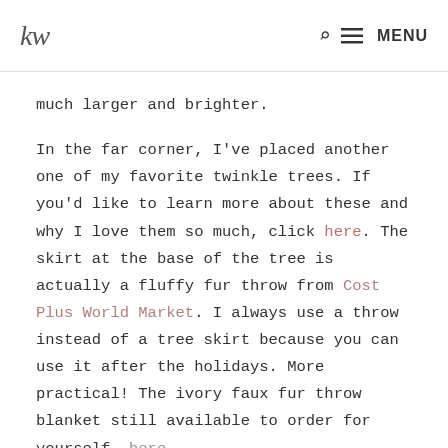KW | MENU
much larger and brighter.
In the far corner, I've placed another one of my favorite twinkle trees. If you'd like to learn more about these and why I love them so much, click here. The skirt at the base of the tree is actually a fluffy fur throw from Cost Plus World Market. I always use a throw instead of a tree skirt because you can use it after the holidays. More practical! The ivory faux fur throw blanket still available to order for yourself, here.